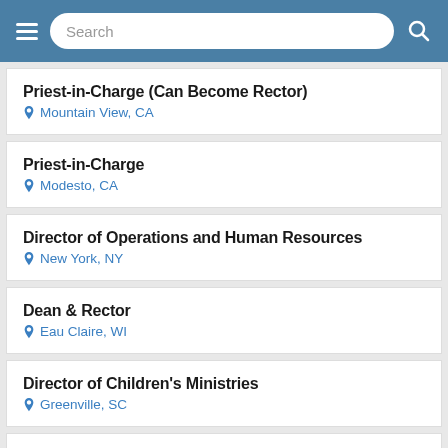Search
Priest-in-Charge (Can Become Rector) | Mountain View, CA
Priest-in-Charge | Modesto, CA
Director of Operations and Human Resources | New York, NY
Dean & Rector | Eau Claire, WI
Director of Children's Ministries | Greenville, SC
Rector | McMinnville, OR